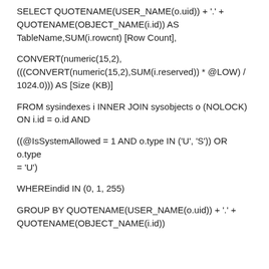SELECT QUOTENAME(USER_NAME(o.uid)) + '.' + QUOTENAME(OBJECT_NAME(i.id)) AS TableName,SUM(i.rowcnt) [Row Count],

CONVERT(numeric(15,2),(((CONVERT(numeric(15,2),SUM(i.reserved)) * @LOW) / 1024.0))) AS [Size (KB)]

FROM sysindexes i INNER JOIN sysobjects o (NOLOCK) ON i.id = o.id AND

((@IsSystemAllowed = 1 AND o.type IN ('U', 'S')) OR o.type = 'U')

WHEREindid IN (0, 1, 255)

GROUP BY QUOTENAME(USER_NAME(o.uid)) + '.' + QUOTENAME(OBJECT_NAME(i.id))